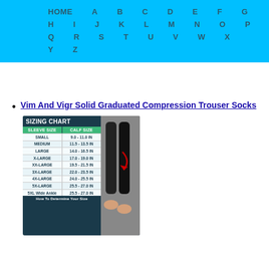HOME A B C D E F G H I J K L M N O P Q R S T U V W X Y Z
Vim And Vigr Solid Graduated Compression Trouser Socks
[Figure (table-as-image): Sizing chart for compression sleeve showing sleeve size vs calf size in inches: SMALL 9.0-11.0 IN, MEDIUM 11.5-13.5 IN, LARGE 14.0-16.5 IN, X-LARGE 17.0-19.0 IN, XX-LARGE 19.5-21.5 IN, 3X-LARGE 22.0-23.5 IN, 4X-LARGE 24.0-25.5 IN, 5X-LARGE 25.5-27.0 IN, 5XL Wide Ankle 25.5-27.0 IN. With photo of legs wearing compression sleeves.]